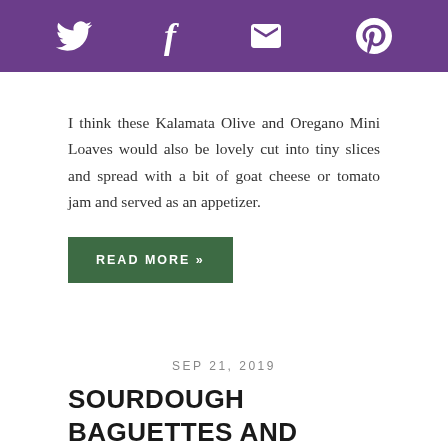[Figure (other): Purple header bar with four social media icons: Twitter bird, Facebook f, envelope/email, and Pinterest P]
I think these Kalamata Olive and Oregano Mini Loaves would also be lovely cut into tiny slices and spread with a bit of goat cheese or tomato jam and served as an appetizer.
READ MORE »
SEP 21, 2019
SOURDOUGH BAGUETTES AND CLASSIC PIMENTO CHEESE